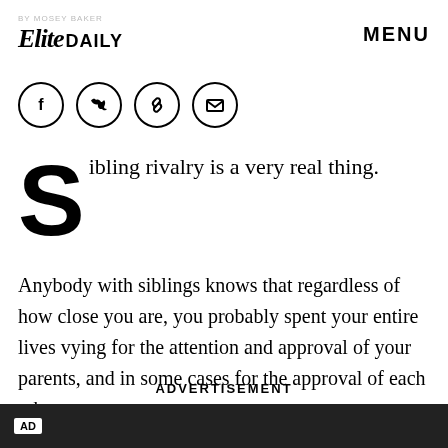Elite Daily — MENU
[Figure (other): Social share icons: Facebook, Twitter, Link, Email — four circles with icons]
Sibling rivalry is a very real thing.
Anybody with siblings knows that regardless of how close you are, you probably spent your entire lives vying for the attention and approval of your parents, and in some cases for the approval of each other.
ADVERTISEMENT